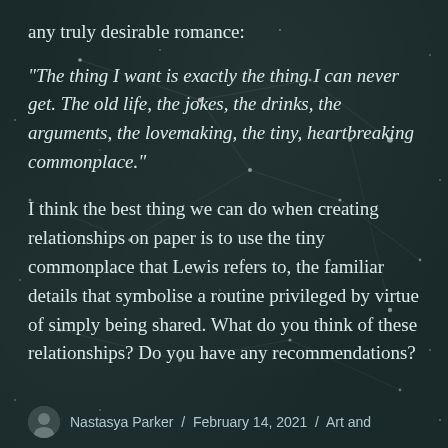any truly desirable romance:
“The thing I want is exactly the thing I can never get. The old life, the jokes, the drinks, the arguments, the lovemaking, the tiny, heartbreaking commonplace.”
I think the best thing we can do when creating relationships on paper is to use the tiny commonplace that Lewis refers to, the familiar details that symbolise a routine privileged by virtue of simply being shared. What do you think of these relationships? Do you have any recommendations?
Nastasya Parker / February 14, 2021 / Art and